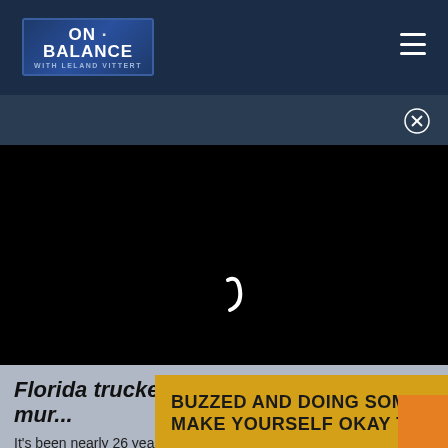ON BALANCE WITH LELAND VITTERT
[Figure (screenshot): Video player with black screen showing a loading spinner (partial white comma/curve shape) and a video progress bar at the bottom]
Florida trucker arrested in 1996 rape mur...
It's been nearly 26 years since a delivery driver came upon a woman's body rolled up in a blanket in southern
[Figure (infographic): Yellow/gold advertisement banner reading: BUZZED AND DOING SOMETHING TO MAKE YOURSELF OKAY TO DRIVE?]